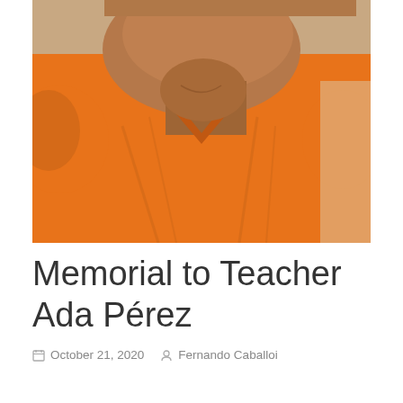[Figure (photo): Close-up photo of a woman wearing an orange blouse, smiling, with reddish lipstick. The photo is cropped at the shoulders showing face and upper chest area.]
Memorial to Teacher Ada Pérez
October 21, 2020   Fernando Caballoi